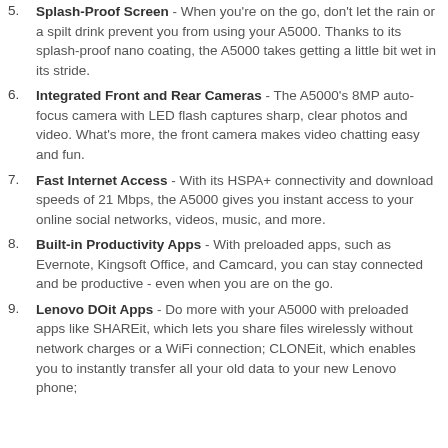5. Splash-Proof Screen - When you're on the go, don't let the rain or a spilt drink prevent you from using your A5000. Thanks to its splash-proof nano coating, the A5000 takes getting a little bit wet in its stride.
6. Integrated Front and Rear Cameras - The A5000's 8MP auto-focus camera with LED flash captures sharp, clear photos and video. What's more, the front camera makes video chatting easy and fun.
7. Fast Internet Access - With its HSPA+ connectivity and download speeds of 21 Mbps, the A5000 gives you instant access to your online social networks, videos, music, and more.
8. Built-in Productivity Apps - With preloaded apps, such as Evernote, Kingsoft Office, and Camcard, you can stay connected and be productive - even when you are on the go.
9. Lenovo DOit Apps - Do more with your A5000 with preloaded apps like SHAREit, which lets you share files wirelessly without network charges or a WiFi connection; CLONEit, which enables you to instantly transfer all your old data to your new Lenovo phone;